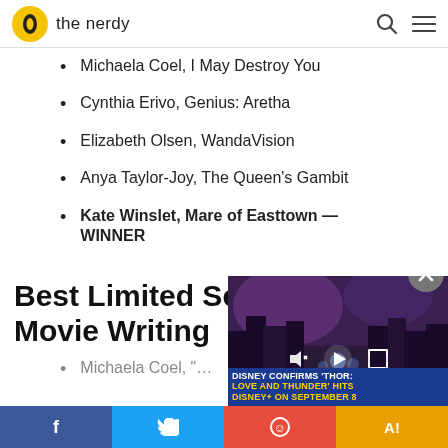the nerdy
Michaela Coel, I May Destroy You
Cynthia Erivo, Genius: Aretha
Elizabeth Olsen, WandaVision
Anya Taylor-Joy, The Queen's Gambit
Kate Winslet, Mare of Easttown — WINNER
Best Limited Series, TV Movie Writing
Michaela Coel, "
[Figure (screenshot): Video player overlay showing a fantasy city scene with Disney+ Thor: Love and Thunder promotional caption. Controls visible including mute, play, and fullscreen buttons. Close button (X) in top right corner.]
Social sharing bar: Facebook, Twitter, and other social media icons